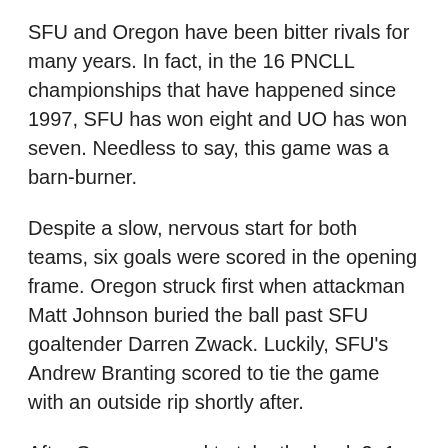SFU and Oregon have been bitter rivals for many years. In fact, in the 16 PNCLL championships that have happened since 1997, SFU has won eight and UO has won seven. Needless to say, this game was a barn-burner.
Despite a slow, nervous start for both teams, six goals were scored in the opening frame. Oregon struck first when attackman Matt Johnson buried the ball past SFU goaltender Darren Zwack. Luckily, SFU's Andrew Branting scored to tie the game with an outside rip shortly after.
After Oregon scored to take the lead, 2−1, Johnson scored his second of the game to double the Duck's lead. SFU attackman Colton Dow cut the lead to one when he dunked a pass from Sam Clare on the crease. But before the quarter had run out, Johnson completed his hat-trick, and the Clan trailed 4−2.